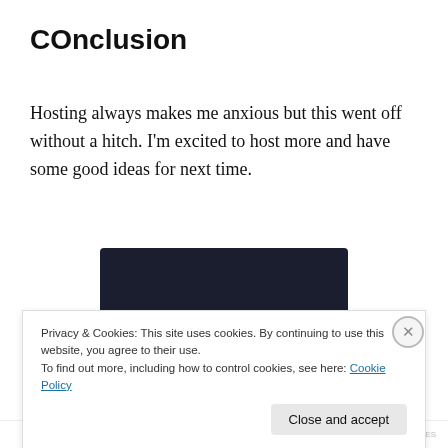COnclusion
Hosting always makes me anxious but this went off without a hitch. I'm excited to host more and have some good ideas for next time.
[Figure (screenshot): Dark background advertisement banner with teal text reading 'online course.' and a teal 'Learn More' pill button]
Privacy & Cookies: This site uses cookies. By continuing to use this website, you agree to their use.
To find out more, including how to control cookies, see here: Cookie Policy
Close and accept